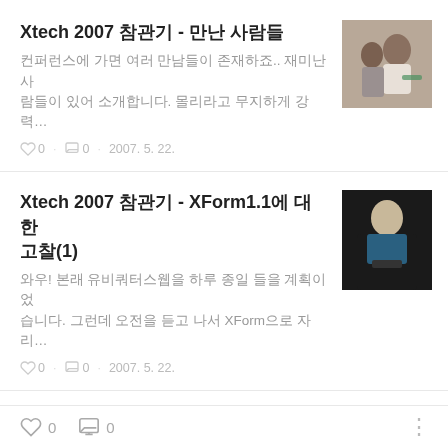Xtech 2007 참관기 - 만난 사람들
컨퍼런스에 가면 여러 만남들이 존재하죠.. 재미난 사람들이 있어 소개합니다. 몰리라고 무지하게 강력…
♡ 0  · ☐ 0  · 2007. 5. 22.
[Figure (photo): Photo of people at a conference, woman in white blouse]
Xtech 2007 참관기 - XForm1.1에 대한 고찰(1)
와우! 본래 유비쿼터스웹을 하루 종일 들을 계획이었습니다. 그런데 오전을 듣고 나서 XForm으로 자리…
♡ 0  · ☐ 0  · 2007. 5. 22.
[Figure (photo): Photo of an elderly person standing in dark clothing with teal shirt]
Xtech 2007 참관기 - 재미난 발표들
기술에 대한 발표는 아니었지만 Xtech의 정체성을 알
[Figure (photo): Photo showing screens/monitors with blue sky]
♡ 0  ☐ 0